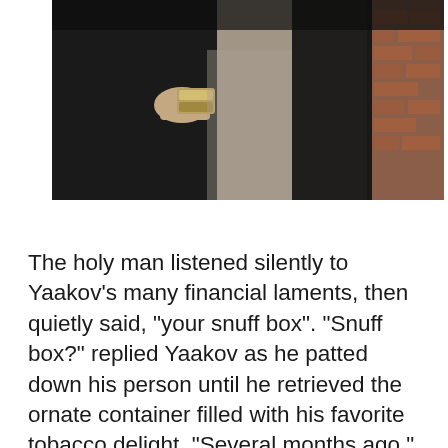[Figure (photo): Two people in dark coats, one holding a metallic snuff box or container, with brick wall in background. Dark, indoor/outdoor scene.]
The holy man listened silently to Yaakov's many financial laments, then quietly said, "your snuff box". "Snuff box?" replied Yaakov as he patted down his person until he retrieved the ornate container filled with his favorite tobacco delight. "Several months ago," said the Rebbe, "you were in shul with friends, and decided to offer them snuff. The...